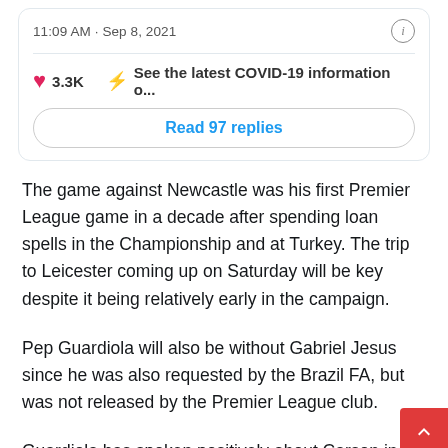11:09 AM · Sep 8, 2021
3.3K   See the latest COVID-19 information o...
Read 97 replies
The game against Newcastle was his first Premier League game in a decade after spending loan spells in the Championship and at Turkey. The trip to Leicester coming up on Saturday will be key despite it being relatively early in the campaign.
Pep Guardiola will also be without Gabriel Jesus since he was also requested by the Brazil FA, but was not released by the Premier League club.
Guardiola has spoken positively about Carson in the past a... has talked about how he is a valuable presence in the dressin...